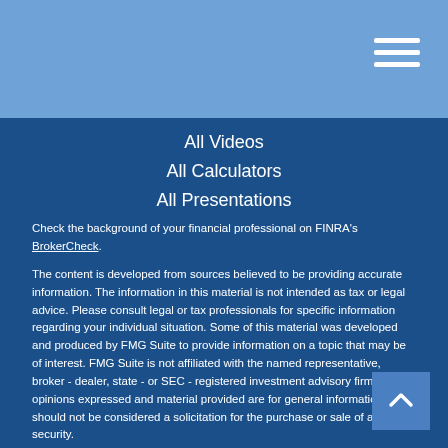All Videos
All Calculators
All Presentations
Check the background of your financial professional on FINRA's BrokerCheck.
The content is developed from sources believed to be providing accurate information. The information in this material is not intended as tax or legal advice. Please consult legal or tax professionals for specific information regarding your individual situation. Some of this material was developed and produced by FMG Suite to provide information on a topic that may be of interest. FMG Suite is not affiliated with the named representative, broker - dealer, state - or SEC - registered investment advisory firm. The opinions expressed and material provided are for general information, and should not be considered a solicitation for the purchase or sale of any security.
We take protecting your data and privacy very seriously. As of January 1, 2020 the California Consumer Privacy Act (CCPA) suggests the following link as an extra measure to safeguard your data: Do not sell my personal information.
Copyright 2022 FMG Suite.
Butler Financial Advisors,LLC is a branch office of DFPG Investments, LLC. Securities and Investment Advisory Services offered through DFPG Investments, LLC. Member FINRA/SIPC. Tax and Accounting Services offered through Butler Tax &